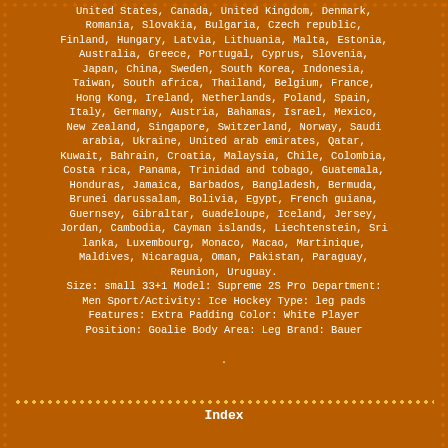United States, Canada, United Kingdom, Denmark, Romania, Slovakia, Bulgaria, Czech republic, Finland, Hungary, Latvia, Lithuania, Malta, Estonia, Australia, Greece, Portugal, Cyprus, Slovenia, Japan, China, Sweden, South Korea, Indonesia, Taiwan, South africa, Thailand, Belgium, France, Hong Kong, Ireland, Netherlands, Poland, Spain, Italy, Germany, Austria, Bahamas, Israel, Mexico, New Zealand, Singapore, Switzerland, Norway, Saudi arabia, Ukraine, United arab emirates, Qatar, Kuwait, Bahrain, Croatia, Malaysia, Chile, Colombia, Costa rica, Panama, Trinidad and tobago, Guatemala, Honduras, Jamaica, Barbados, Bangladesh, Bermuda, Brunei darussalam, Bolivia, Egypt, French guiana, Guernsey, Gibraltar, Guadeloupe, Iceland, Jersey, Jordan, Cambodia, Cayman islands, Liechtenstein, Sri lanka, Luxembourg, Monaco, Macao, Martinique, Maldives, Nicaragua, Oman, Pakistan, Paraguay, Reunion, Uruguay.
Size: small 33+1 Model: Supreme 2S Pro Department: Men Sport/Activity: Ice Hockey Type: leg pads Features: Extra Padding Color: White Player Position: Goalie Body Area: Leg Brand: Bauer
.
Index
Sitemap